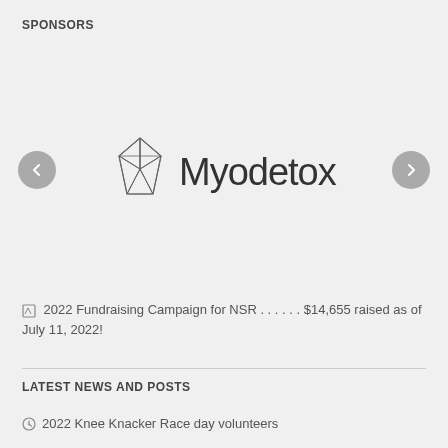SPONSORS
[Figure (logo): Myodetox logo with geometric diamond/crystal shape icon and the text 'Myodetox' in dark sans-serif font. Navigation arrows (left and right) flank the logo area.]
2022 Fundraising Campaign for NSR . . . . . . $14,655 raised as of July 11, 2022!
LATEST NEWS AND POSTS
2022 Knee Knacker Race day volunteers